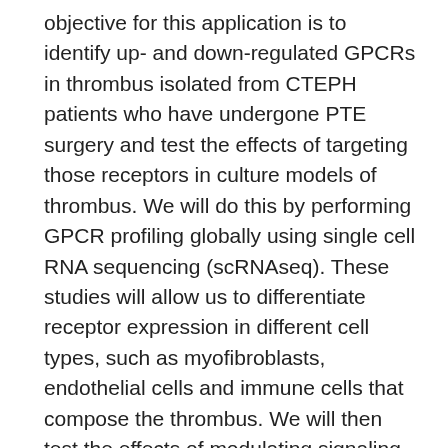objective for this application is to identify up- and down-regulated GPCRs in thrombus isolated from CTEPH patients who have undergone PTE surgery and test the effects of targeting those receptors in culture models of thrombus. We will do this by performing GPCR profiling globally using single cell RNA sequencing (scRNAseq). These studies will allow us to differentiate receptor expression in different cell types, such as myofibroblasts, endothelial cells and immune cells that compose the thrombus. We will then test the effects of modulating signaling through these receptors in ex vivo models of CTEPH thrombus. The expected outcomes of this project is a deeper mechanistic understanding of the cells that contribute to and dysregulated signaling in CTEPH. This will aid in our long-term goal of developing novel CTEPH medical therapies.